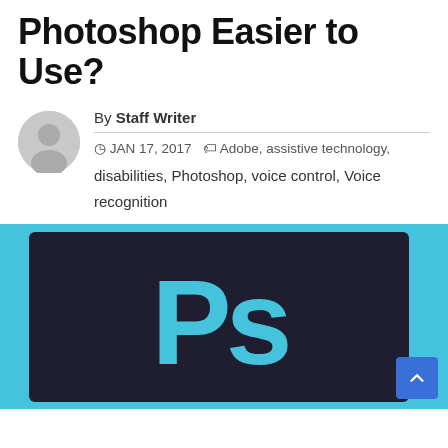Photoshop Easier to Use?
By Staff Writer
JAN 17, 2017   Adobe, assistive technology, disabilities, Photoshop, voice control, Voice recognition
[Figure (logo): Adobe Photoshop logo — dark navy background with cyan 'Ps' letters, surrounded by cyan border]